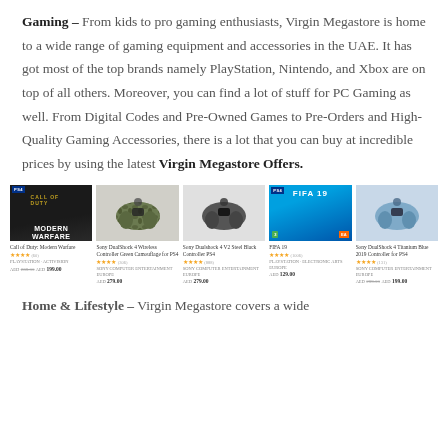Gaming – From kids to pro gaming enthusiasts, Virgin Megastore is home to a wide range of gaming equipment and accessories in the UAE. It has got most of the top brands namely PlayStation, Nintendo, and Xbox are on top of all others. Moreover, you can find a lot of stuff for PC Gaming as well. From Digital Codes and Pre-Owned Games to Pre-Orders and High-Quality Gaming Accessories, there is a lot that you can buy at incredible prices by using the latest Virgin Megastore Offers.
[Figure (photo): Row of 5 gaming products: Call of Duty Modern Warfare PS4 game cover, Sony DualShock 4 Wireless Controller Green Camouflage, Sony DualShock 4 V2 Steel Black Controller PS4, FIFA 19 PS4 game cover, Sony DualShock 4 Titanium Blue 2019 Controller for PS4. Each with star ratings, brand, and price information.]
Home & Lifestyle – Virgin Megastore covers a wide